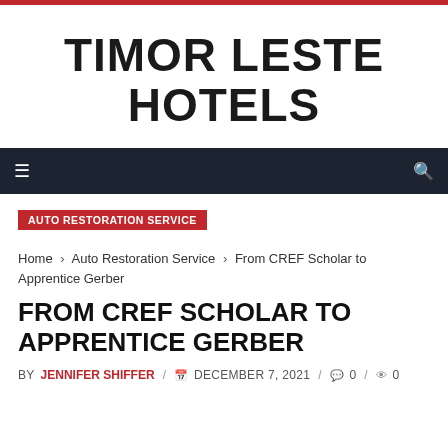TIMOR LESTE HOTELS
[Figure (other): Navigation bar with menu icon on left and search icon on right, dark background]
AUTO RESTORATION SERVICE
Home › Auto Restoration Service › From CREF Scholar to Apprentice Gerber
FROM CREF SCHOLAR TO APPRENTICE GERBER
BY JENNIFER SHIFFER / DECEMBER 7, 2021 / 0 / 0